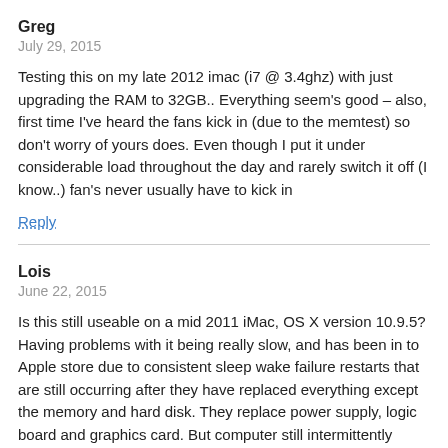Greg
July 29, 2015
Testing this on my late 2012 imac (i7 @ 3.4ghz) with just upgrading the RAM to 32GB.. Everything seem's good – also, first time I've heard the fans kick in (due to the memtest) so don't worry of yours does. Even though I put it under considerable load throughout the day and rarely switch it off (I know..) fan's never usually have to kick in
Reply
Lois
June 22, 2015
Is this still useable on a mid 2011 iMac, OS X version 10.9.5? Having problems with it being really slow, and has been in to Apple store due to consistent sleep wake failure restarts that are still occurring after they have replaced everything except the memory and hard disk. They replace power supply, logic board and graphics card. But computer still intermittently restarts itself, always being sleep wake failure problem. Have checked activity monitor and have red and yellow in the memory graph area. Am a total computer dummy so don't know what to do. HELP!